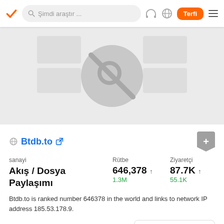Şimdi araştır ...  Terfi
[Figure (screenshot): Website preview thumbnail placeholder with grey background and a no-image icon in the center]
Btdb.to
| sanayi | Rütbe | Ziyaretçi |
| --- | --- | --- |
| Akış / Dosya Paylaşımı | 646,378 ↑
1.3M | 87.7K ↑
55.1K |
Btdb.to is ranked number 646378 in the world and links to network IP address 185.53.178.9.
Btdb alternatifler